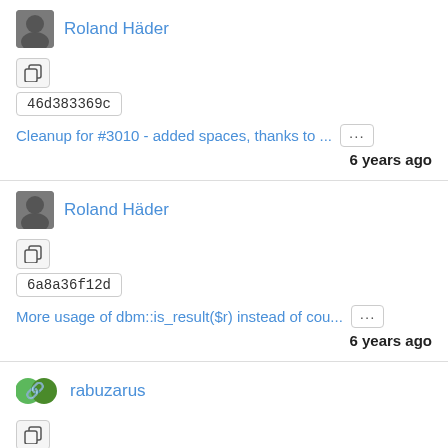Roland Häder
46d383369c
Cleanup for #3010 - added spaces, thanks to ...
6 years ago
Roland Häder
6a8a36f12d
More usage of dbm::is_result($r) instead of cou...
6 years ago
rabuzarus
9878974e1f
fix photos page permissions